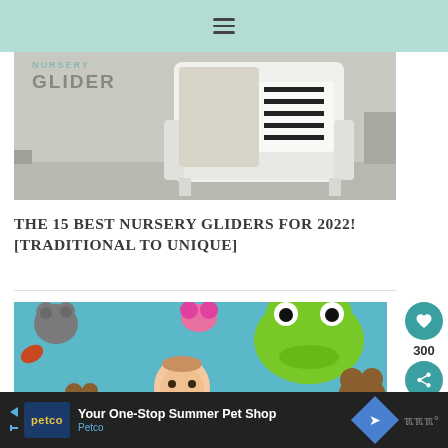Navigation bar with hamburger menu
[Figure (photo): Photo of a white nursery glider chair with a black and white striped pillow, with text overlay reading 'NURSERY GLIDER']
THE 15 BEST NURSERY GLIDERS FOR 2022! [TRADITIONAL TO UNIQUE]
[Figure (photo): Photo of a smiling baby laying on a blue surface surrounded by stuffed animal toys including a large green frog, brown bears, and colorful plush animals]
Your One-Stop Summer Pet Shop Petco [advertisement banner]